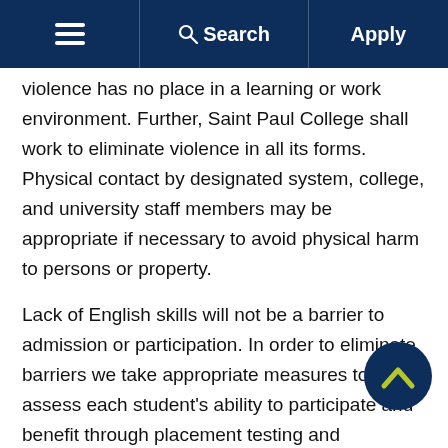☰  Search  Apply
violence has no place in a learning or work environment. Further, Saint Paul College shall work to eliminate violence in all its forms. Physical contact by designated system, college, and university staff members may be appropriate if necessary to avoid physical harm to persons or property.
Lack of English skills will not be a barrier to admission or participation. In order to eliminate barriers we take appropriate measures to assess each student's ability to participate and benefit through placement testing and counseling. Based on the assessment and counseling, students are then provided with campus services or a referral to community services to be better prepared for